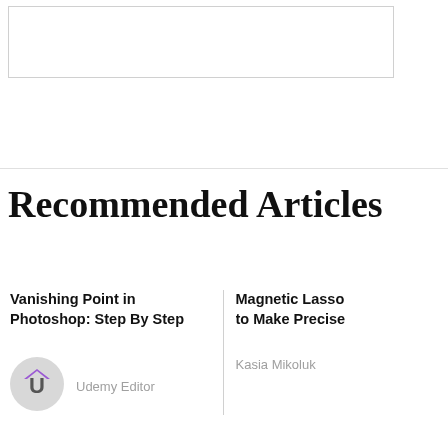[Figure (screenshot): White box with grey border at top of page]
Recommended Articles
Vanishing Point in Photoshop: Step By Step
[Figure (logo): Udemy Editor circular avatar logo with U letter and purple hat icon]
Udemy Editor
Magnetic Lasso to Make Precise
Kasia Mikoluk